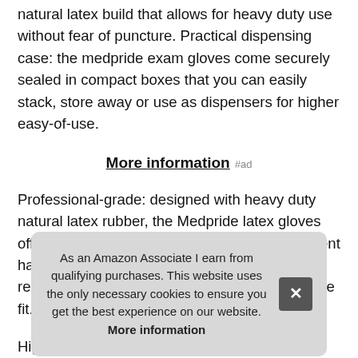natural latex build that allows for heavy duty use without fear of puncture. Practical dispensing case: the medpride exam gloves come securely sealed in compact boxes that you can easily stack, store away or use as dispensers for higher easy-of-use.
More information #ad
Professional-grade: designed with heavy duty natural latex rubber, the Medpride latex gloves offer amazing tactile sensitivity for fine equipment handling, superior medical grade puncture resilience with 5-mil thickness and a comfortable fit.
Hig... high... law... ven... as i...
As an Amazon Associate I earn from qualifying purchases. This website uses the only necessary cookies to ensure you get the best experience on our website. More information